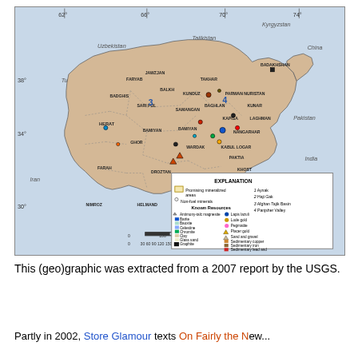[Figure (map): Map of Afghanistan showing known mineral resource locations and promising mineralized areas. Includes province labels (Herat, Farah, Nimroz, Helmand, Kandahar, Badghis, Ghor, Droztan, Baghlan, Parwan, Kabul, Logar, Paktia, Khost, Kunar, Laghman, Kapisa, Nangarhar, Takhar, Kunduz, Balkh, Samangan, Bamiyan, Baghlan, Badakhshan, Faryab, Jawzjan, Sari Pul). Legend includes promising mineralized areas, non-fuel minerals, and Known Resources such as Antimony, Barite, Bauxite, Celestine, Chromite, Clay, Glass sand, Graphite, Igneous-related copper/iron/lead and zinc, Lapis lazuli, Lode gold, Pegmatite, Placer gold, Sand and gravel, Sedimentary copper, Sedimentary iron, Sedimentary lead and zinc, Stone, Sulfur. Numbered labels 1-4 indicate Aynak, Haji Gak, Afghan Tajik Basin, Panjsher Valley. Scale bar in kilometers and miles. From a 2007 USGS report.]
This (geo)graphic was extracted from a 2007 report by the USGS.
Partly in 2002, Store Glamour texts On Fairly the New...